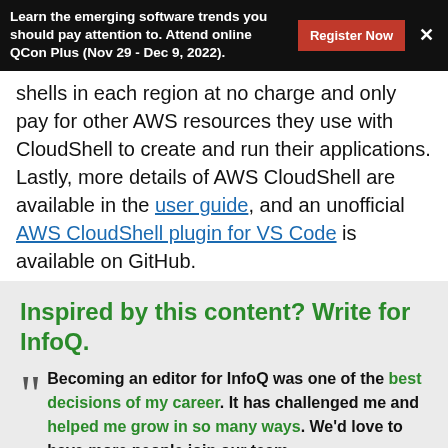Learn the emerging software trends you should pay attention to. Attend online QCon Plus (Nov 29 - Dec 9, 2022).
shells in each region at no charge and only pay for other AWS resources they use with CloudShell to create and run their applications. Lastly, more details of AWS CloudShell are available in the user guide, and an unofficial AWS CloudShell plugin for VS Code is available on GitHub.
Inspired by this content? Write for InfoQ.
Becoming an editor for InfoQ was one of the best decisions of my career. It has challenged me and helped me grow in so many ways. We'd love to have more people join our team.
Thomas Betts